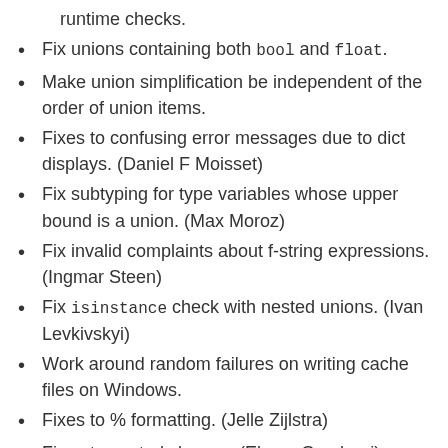runtime checks.
Fix unions containing both bool and float.
Make union simplification be independent of the order of union items.
Fixes to confusing error messages due to dict displays. (Daniel F Moisset)
Fix subtyping for type variables whose upper bound is a union. (Max Moroz)
Fix invalid complaints about f-string expressions. (Ingmar Steen)
Fix isinstance check with nested unions. (Ivan Levkivskyi)
Work around random failures on writing cache files on Windows.
Fixes to % formatting. (Jelle Zijlstra)
Fixes to nested classes. (Elazar Gershuni)
Disallow generic Enums as they don't work. (Jelle Zijlstra)